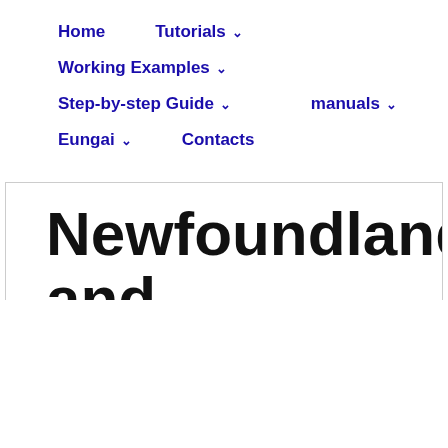Home | Tutorials ∨ | Working Examples ∨ | Step-by-step Guide ∨ | manuals ∨ | Eungai ∨ | Contacts
Newfoundland and Labrador